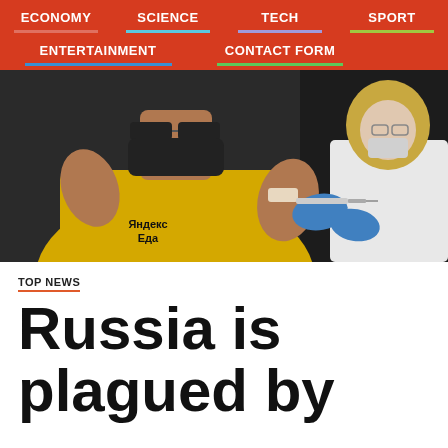ECONOMY  SCIENCE  TECH  SPORT  ENTERTAINMENT  CONTACT FORM
[Figure (photo): A man in a yellow Яндекс Еда (Yandex Food) shirt and black face mask and sunglasses receiving a vaccine injection in his left arm from a medical worker wearing blue gloves and white coat, against a dark background.]
TOP NEWS
Russia is plagued by